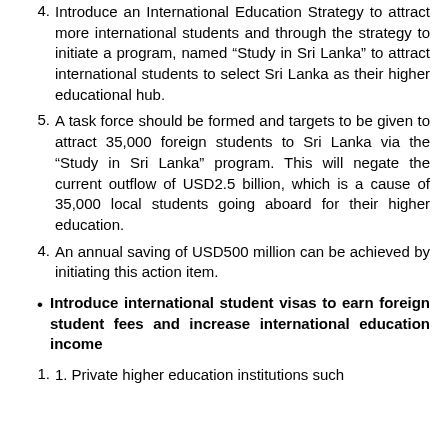4. Introduce an International Education Strategy to attract more international students and through the strategy to initiate a program, named “Study in Sri Lanka” to attract international students to select Sri Lanka as their higher educational hub.
5. A task force should be formed and targets to be given to attract 35,000 foreign students to Sri Lanka via the “Study in Sri Lanka” program. This will negate the current outflow of USD2.5 billion, which is a cause of 35,000 local students going aboard for their higher education.
4. An annual saving of USD500 million can be achieved by initiating this action item.
Introduce international student visas to earn foreign student fees and increase international education income
1. 1. Private higher education institutions such